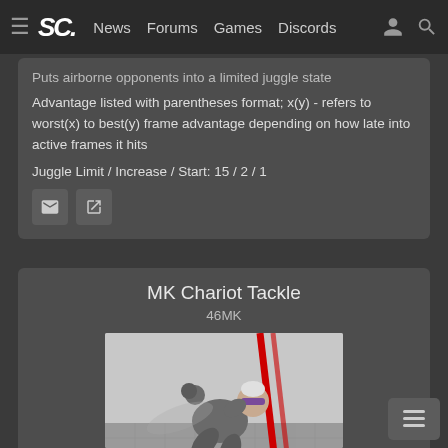SC · News Forums Games Discords
Puts airborne opponents into a limited juggle state
Advantage listed with parentheses format; x(y) - refers to worst(x) to best(y) frame advantage depending on how late into active frames it hits
Juggle Limit / Increase / Start: 15 / 2 / 1
MK Chariot Tackle
46MK
[Figure (photo): A fighting game character performing a flying/charging tackle move, rendered in 3D with a grey outfit on a grid floor background with red diagonal lines.]